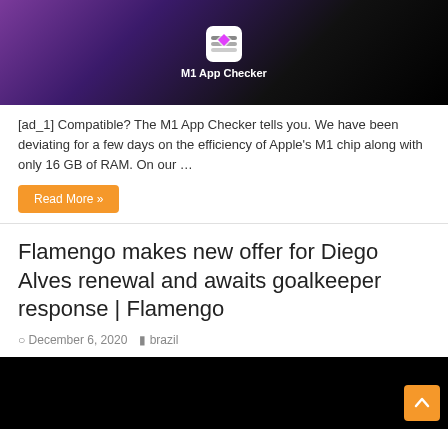[Figure (screenshot): App icon screenshot showing layers icon with 'M1 App Checker' label on dark purple/black gradient background]
[ad_1] Compatible? The M1 App Checker tells you. We have been deviating for a few days on the efficiency of Apple's M1 chip along with only 16 GB of RAM. On our …
Read More »
Flamengo makes new offer for Diego Alves renewal and awaits goalkeeper response | Flamengo
December 6, 2020    brazil
[Figure (photo): Dark/black photo related to Flamengo article]